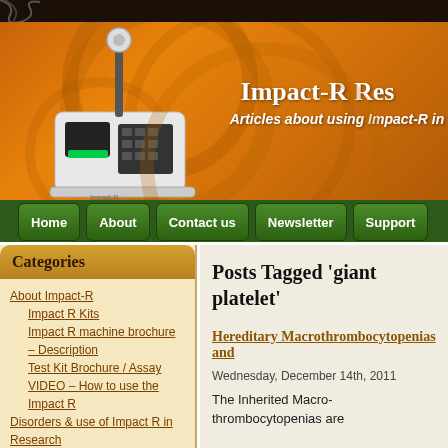[Figure (illustration): Orange textured banner header with decorative circular patterns and a white medical device (Impact-R machine) in the lower-left. Header text reads 'Impact-R Res...' and 'Articles about using Impact-R in...']
Impact-R Res... | Articles about using Impact-R in...
Home | About | Contact us | Newsletter | Support
Categories
About Impact-R
Impact R Kits
Impact R machine brochure – Description
Test Kit Brochure / Assay
VIDEO – How to use the Impact R
Disorders & use of Impact R in Research
Posts Tagged 'giant platelet'
Hereditary Macrothrombocytopenias and...
Wednesday, December 14th, 2011
The Inherited Macrothrombocytopenias are